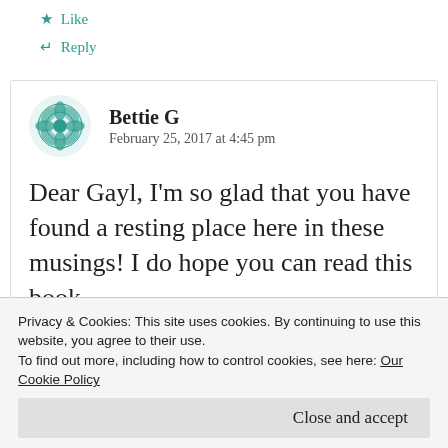★ Like
↵ Reply
Bettie G
February 25, 2017 at 4:45 pm
Dear Gayl, I'm so glad that you have found a resting place here in these musings! I do hope you can read this book
poet/sister/friend! Love and Hugs! xo
Privacy & Cookies: This site uses cookies. By continuing to use this website, you agree to their use.
To find out more, including how to control cookies, see here: Our Cookie Policy
Close and accept